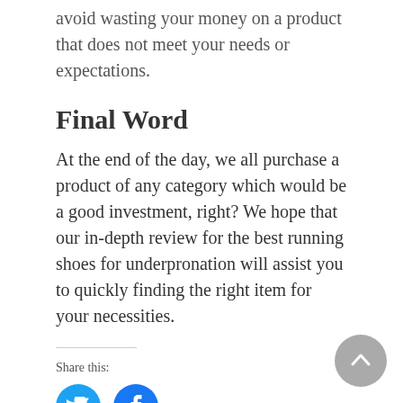avoid wasting your money on a product that does not meet your needs or expectations.
Final Word
At the end of the day, we all purchase a product of any category which would be a good investment, right? We hope that our in-depth review for the best running shoes for underpronation will assist you to quickly finding the right item for your necessities.
Share this:
[Figure (illustration): Twitter and Facebook social share icon buttons (blue circles with white icons)]
Related Posts